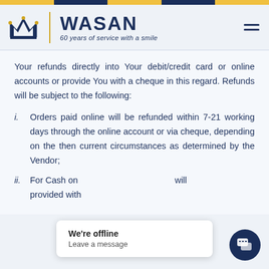[Figure (logo): Wasan logo with crown icon, vertical divider, brand name WASAN and tagline '60 years of service with a smile']
Your refunds directly into Your debit/credit card or online accounts or provide You with a cheque in this regard. Refunds will be subject to the following:
i. Orders paid online will be refunded within 7-21 working days through the online account or via cheque, depending on the then current circumstances as determined by the Vendor;
ii. For Cash on... will provided with...
We're offline
Leave a message